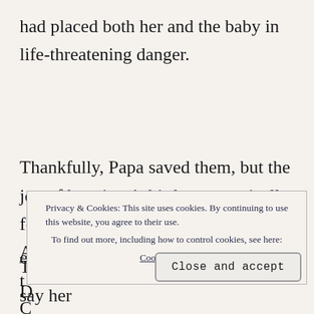had placed both her and the baby in life-threatening danger.
Thankfully, Papa saved them, but the joy of her sister’s birth was tragically followed by unprecedented losses for Abcynian kind, forcing t[...] e[...] D[...] C[...]
Privacy & Cookies: This site uses cookies. By continuing to use this website, you agree to their use. To find out more, including how to control cookies, see here: Cookie Policy
Close and accept
Thinking on it now, she would like to say her